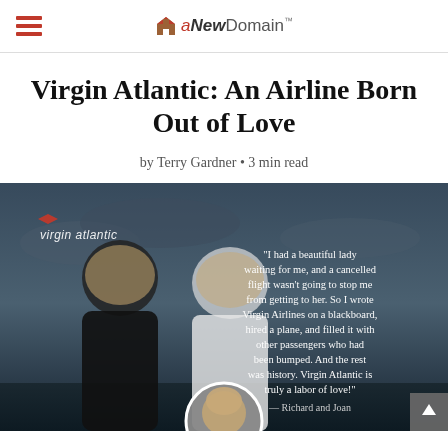aNewDomain
Virgin Atlantic: An Airline Born Out of Love
by Terry Gardner • 3 min read
[Figure (photo): Virgin Atlantic branded image showing two people laughing together outdoors at dusk, with a large quote: 'I had a beautiful lady waiting for me, and a cancelled flight wasn't going to stop me from getting to her. So I wrote Virgin Airlines on a blackboard, hired a plane, and filled it with other passengers who had been bumped. And the rest was history. Virgin Atlantic is truly a labor of love!' — Richard and Joan. A circular portrait photo of a woman is overlaid at the bottom center.]